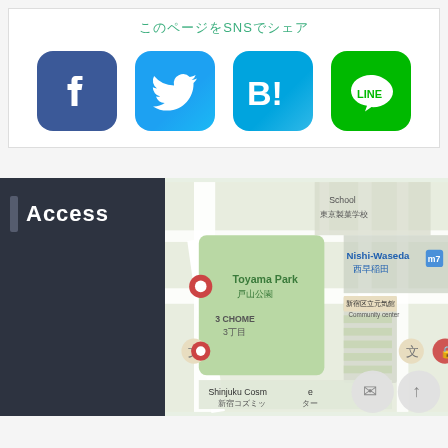このページをSNSでシェア
[Figure (illustration): Four SNS share buttons: Facebook (blue), Twitter (light blue), Hatena Bookmark (blue with B!), LINE (green)]
Access
[Figure (map): Google Maps showing Toyama Park (戸山公園), Nishi-Waseda (西早稲田), 3 Chome (3丁目), 新宿区立元気館 Community center, Shinjuku Cosmopolitan (新宿コズミック), 東京製菓学校, School labels in Tokyo area]